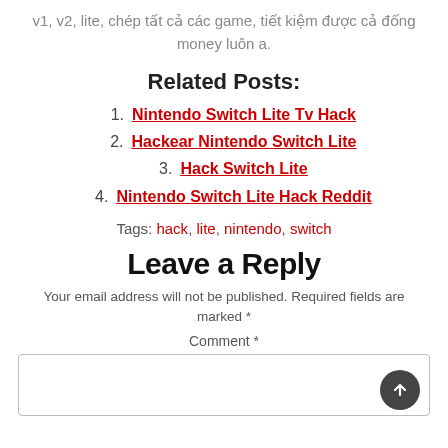v1, v2, lite, chép tất cả các game, tiết kiệm được cả đống money luôn a.
Related Posts:
1. Nintendo Switch Lite Tv Hack
2. Hackear Nintendo Switch Lite
3. Hack Switch Lite
4. Nintendo Switch Lite Hack Reddit
Tags: hack, lite, nintendo, switch
Leave a Reply
Your email address will not be published. Required fields are marked *
Comment *